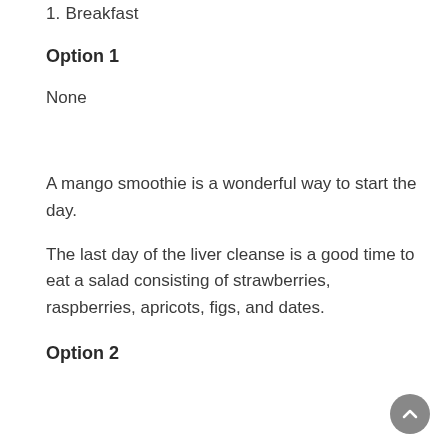1. Breakfast
Option 1
None
A mango smoothie is a wonderful way to start the day.
The last day of the liver cleanse is a good time to eat a salad consisting of strawberries, raspberries, apricots, figs, and dates.
Option 2